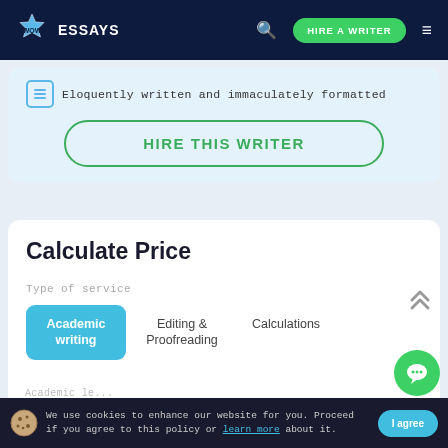WOW ESSAYS | HIRE A WRITER
Eloquently written and immaculately formatted
HIRE THIS WRITER
Calculate Price
Type of service
Academic writing | Editing & Proofreading | Calculations
We use cookies to enhance our website for you. Proceed if you agree to this policy or learn more about it.
I agree